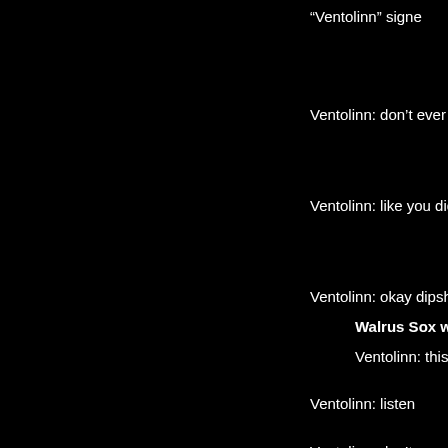“Ventolinn” signe
Ventolinn: don't ever q
Ventolinn: like you did
Ventolinn: okay dipshit
Walrus Sox wro
Ventolinn: this is
Ventolinn: listen
Ventolinn: don't e
Ventolinn: like yo
Ventolinn: okay o
robisforlovers: ea